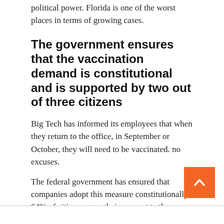political power. Florida is one of the worst places in terms of growing cases.
The government ensures that the vaccination demand is constitutional and is supported by two out of three citizens
Big Tech has informed its employees that when they return to the office, in September or October, they will need to be vaccinated. no excuses.
The federal government has ensured that companies adopt this measure constitutionally. 64% of citizens gave their consent to the vaccination request.